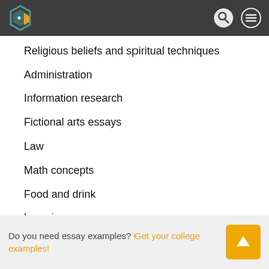[Figure (logo): Hexagonal logo with teal/yellow colors on dark header bar with search and menu icons]
Religious beliefs and spiritual techniques
Administration
Information research
Fictional arts essays
Law
Math concepts
Food and drink
Learning
House animals
Free example samples
Your life
Theories
Ideas
Do you need essay examples? Get your college examples!